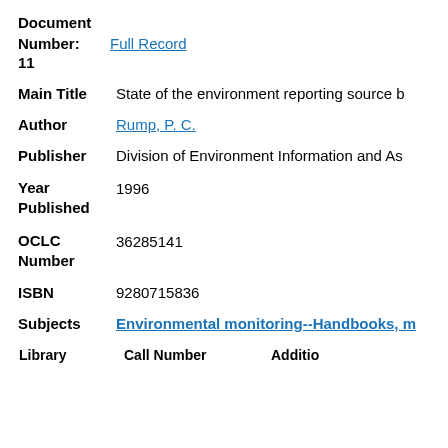Document
Number:    Full Record
11
Main Title   State of the environment reporting source b
Author   Rump, P. C.
Publisher   Division of Environment Information and As
Year Published   1996
OCLC Number   36285141
ISBN   9280715836
Subjects   Environmental monitoring--Handbooks, m
| Library | Call Number | Additio |
| --- | --- | --- |